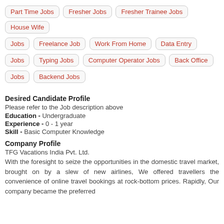Part Time Jobs
Fresher Jobs
Fresher Trainee Jobs
House Wife
Jobs
Freelance Job
Work From Home
Data Entry
Jobs
Typing Jobs
Computer Operator Jobs
Back Office
Jobs
Backend Jobs
Desired Candidate Profile
Please refer to the Job description above
Education - Undergraduate
Experience - 0 - 1 year
Skill - Basic Computer Knowledge
Company Profile
TFG Vacations India Pvt. Ltd.
With the foresight to seize the opportunities in the domestic travel market, brought on by a slew of new airlines, We offered travellers the convenience of online travel bookings at rock-bottom prices. Rapidly, Our company became the preferred